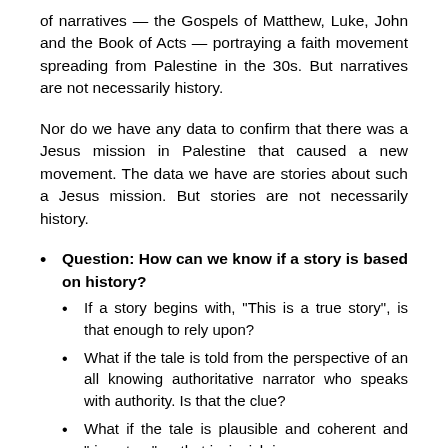of narratives — the Gospels of Matthew, Luke, John and the Book of Acts — portraying a faith movement spreading from Palestine in the 30s. But narratives are not necessarily history.
Nor do we have any data to confirm that there was a Jesus mission in Palestine that caused a new movement. The data we have are stories about such a Jesus mission. But stories are not necessarily history.
Question: How can we know if a story is based on history?
If a story begins with, “This is a true story”, is that enough to rely upon?
What if the tale is told from the perspective of an all knowing authoritative narrator who speaks with authority. Is that the clue?
What if the tale is plausible and coherent and “rings true” — that is, is rich in